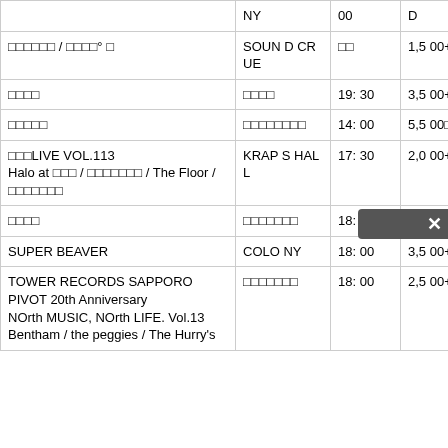| イベント名 | 会場 | 時間 | 価格 |
| --- | --- | --- | --- |
|  | NY | 00 | D |
| □□□□□□ / □□□□° □ | SOUND CRUE | □□ | 1,500+D |
| □□□□ | □□□□ | 19:30 | 3,500+D |
| □□□□□ | □□□□□□□□ | 14:00 | 5,500□ |
| □□□LIVE VOL.113
Halo at □□□ / □□□□□□□ / The Floor / □□□□□□□ | KRAPS HALL | 17:30 | 2,000+D |
| □□□□ | □□□□□□□ | 18:00 | 9,500 |
| SUPER BEAVER | COLONY | 18:00 | 3,500+D |
| TOWER RECORDS SAPPORO PIVOT 20th Anniversary
NOrth MUSIC, NOrth LIFE. Vol.13
Bentham / the peggies / The Hurry's | □□□□□□□ | 18:00 | 2,500+D |